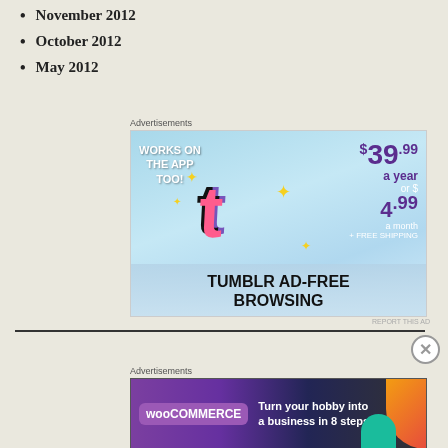November 2012
October 2012
May 2012
Advertisements
[Figure (illustration): Tumblr Ad-Free Browsing advertisement. Shows Tumblr logo with price $39.99 a year or $4.99 a month + FREE SHIPPING. Text says WORKS ON THE APP TOO!]
Advertisements
[Figure (illustration): WooCommerce advertisement: Turn your hobby into a business in 8 steps]